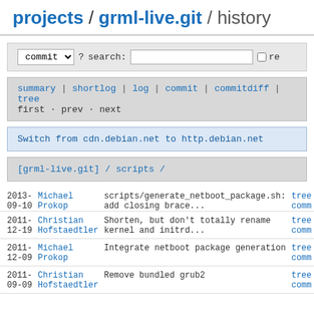projects / grml-live.git / history
commit ? search: re
summary | shortlog | log | commit | commitdiff | tree
first · prev · next
Switch from cdn.debian.net to http.debian.net
[grml-live.git] / scripts /
| Date | Author | Message | Links |
| --- | --- | --- | --- |
| 2013-
09-10 | Michael
Prokop | scripts/generate_netboot_package.sh:
add closing brace... | tree
comm |
| 2011-
12-19 | Christian
Hofstaedtler | Shorten, but don't totally rename
kernel and initrd... | tree
comm |
| 2011-
12-09 | Michael
Prokop | Integrate netboot package generation | tree
comm |
| 2011-
09-09 | Christian
Hofstaedtler | Remove bundled grub2 | tree
comm |